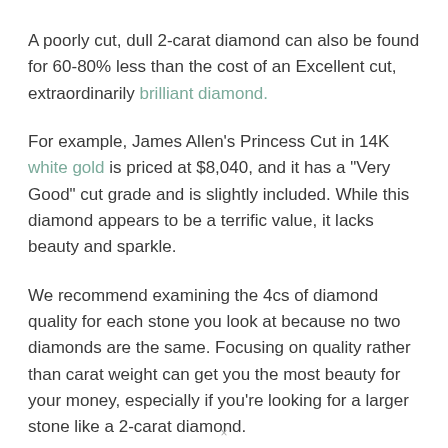A poorly cut, dull 2-carat diamond can also be found for 60-80% less than the cost of an Excellent cut, extraordinarily brilliant diamond.
For example, James Allen's Princess Cut in 14K white gold is priced at $8,040, and it has a "Very Good" cut grade and is slightly included. While this diamond appears to be a terrific value, it lacks beauty and sparkle.
We recommend examining the 4cs of diamond quality for each stone you look at because no two diamonds are the same. Focusing on quality rather than carat weight can get you the most beauty for your money, especially if you're looking for a larger stone like a 2-carat diamond.
×